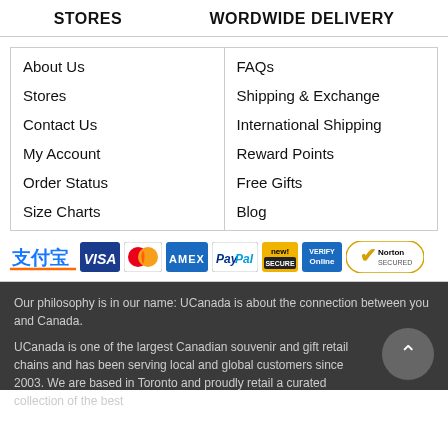STORES
WORDWIDE DELIVERY
About Us
Stores
Contact Us
My Account
Order Status
Size Charts
FAQs
Shipping & Exchange
International Shipping
Reward Points
Free Gifts
Blog
[Figure (logo): Payment method logos: Alipay, Visa, MasterCard, AMEX, PayPal, New, Online, Norton Secured]
Our philosophy is in our name: UCanada is about the connection between you and Canada.
UCanada is one of the largest Canadian souvenir and gift retail chains and has been serving local and global customers since 2003. We are based in Toronto and proudly retail a curated collection of the best